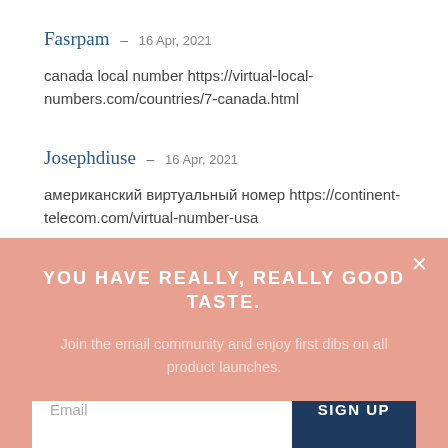Fasrpam – 16 Apr, 2021
canada local number https://virtual-local-numbers.com/countries/7-canada.html
Josephdiuse – 16 Apr, 2021
американский виртуальный номер https://continent-telecom.com/virtual-number-usa
YOU HAVE REALLY, REALLY GOOD TASTE.
Join the email community and enjoy first dibs on all product launches.
Email
SIGN UP